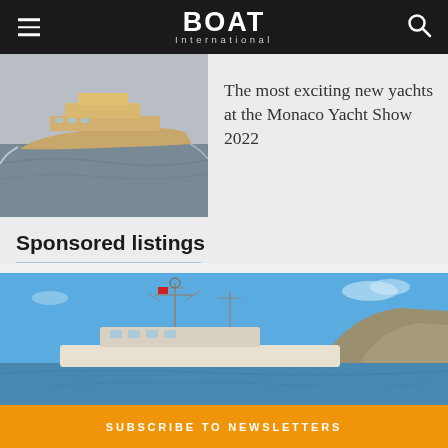BOAT International
[Figure (photo): A luxury motor yacht underway on open sea, photographed from above at an angle, showing a tan/beige hull with multiple decks]
The most exciting new yachts at the Monaco Yacht Show 2022
Sponsored listings
[Figure (photo): A yacht moored near rocky coastline under a blue sky, viewed from the side, with communications mast and antennas visible]
SUBSCRIBE TO NEWSLETTERS